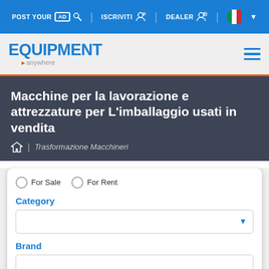POST YOUR AD | ISCRIVITI | DEALER | Italy flag
[Figure (logo): Equipment Anywhere logo with blue text and orange arrow]
Macchine per la lavorazione e attrezzature per L'imballaggio usati in vendita
Trasformazione Macchineri
For Sale   For Rent
Category
Brand